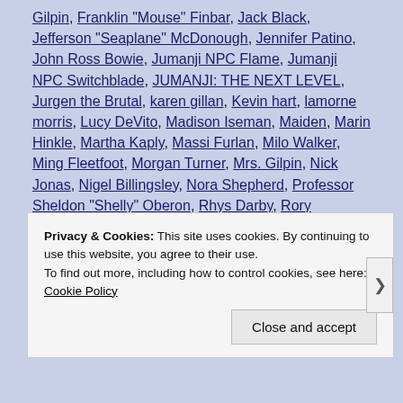Gilpin, Franklin "Mouse" Finbar, Jack Black, Jefferson "Seaplane" McDonough, Jennifer Patino, John Ross Bowie, Jumanji NPC Flame, Jumanji NPC Switchblade, JUMANJI: THE NEXT LEVEL, Jurgen the Brutal, karen gillan, Kevin hart, lamorne morris, Lucy DeVito, Madison Iseman, Maiden, Marin Hinkle, Martha Kaply, Massi Furlan, Milo Walker, Ming Fleetfoot, Morgan Turner, Mrs. Gilpin, Nick Jonas, Nigel Billingsley, Nora Shepherd, Professor Sheldon "Shelly" Oberon, Rhys Darby, Rory McCann, Ruby Roundhouse, Ser'Darius Blain, Spencer Gilpin, Zachary Tzegaegbe
Privacy & Cookies: This site uses cookies. By continuing to use this website, you agree to their use. To find out more, including how to control cookies, see here: Cookie Policy